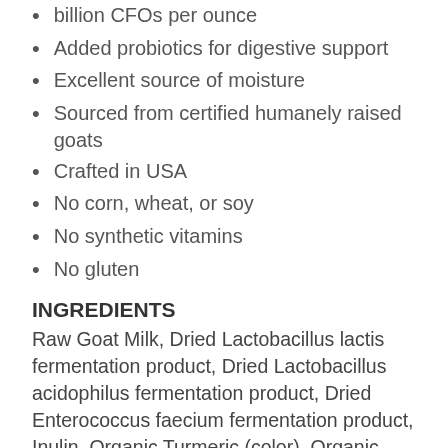billion CFOs per ounce
Added probiotics for digestive support
Excellent source of moisture
Sourced from certified humanely raised goats
Crafted in USA
No corn, wheat, or soy
No synthetic vitamins
No gluten
INGREDIENTS
Raw Goat Milk, Dried Lactobacillus lactis fermentation product, Dried Lactobacillus acidophilus fermentation product, Dried Enterococcus faecium fermentation product, Inulin, Organic Turmeric (color), Organic Ginger, Organic Cinnamon.
GUARANTEED ANALYSIS